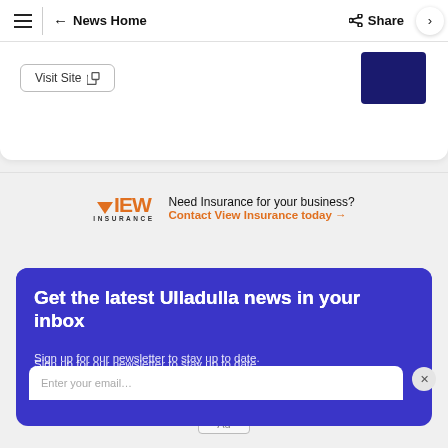News Home | Share
[Figure (screenshot): Visit Site button with external link icon and a dark navy block in the top right corner]
[Figure (logo): View Insurance logo with orange triangle V and 'VIEW INSURANCE' text, advertisement banner reading 'Need Insurance for your business? Contact View Insurance today →']
Get the latest Ulladulla news in your inbox
Sign up for our newsletter to stay up to date.
Enter your email...
Ad